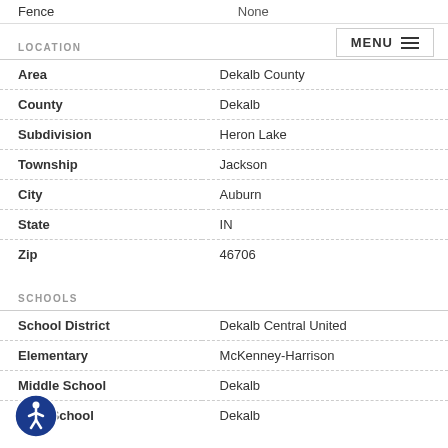Fence  None
LOCATION
| Field | Value |
| --- | --- |
| Area | Dekalb County |
| County | Dekalb |
| Subdivision | Heron Lake |
| Township | Jackson |
| City | Auburn |
| State | IN |
| Zip | 46706 |
SCHOOLS
| Field | Value |
| --- | --- |
| School District | Dekalb Central United |
| Elementary | McKenney-Harrison |
| Middle School | Dekalb |
| High School | Dekalb |